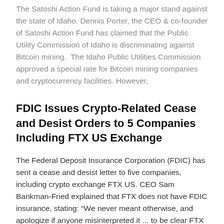The Satoshi Action Fund is taking a major stand against the state of Idaho. Dennis Porter, the CEO & co-founder of Satoshi Action Fund has claimed that the Public Utility Commission of Idaho is discriminating against Bitcoin mining.  The Idaho Public Utilities Commission approved a special rate for Bitcoin mining companies and cryptocurrency facilities. However,
FDIC Issues Crypto-Related Cease and Desist Orders to 5 Companies Including FTX US Exchange
The Federal Deposit Insurance Corporation (FDIC) has sent a cease and desist letter to five companies, including crypto exchange FTX US. CEO Sam Bankman-Fried explained that FTX does not have FDIC insurance, stating: "We never meant otherwise, and apologize if anyone misinterpreted it ... to be clear FTX US isn't FDIC insured." FDIC Orders 5